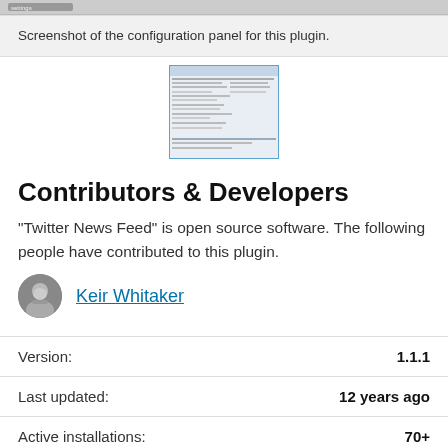[Figure (screenshot): Partial top bar of a screenshot of a plugin configuration panel]
Screenshot of the configuration panel for this plugin.
[Figure (screenshot): Thumbnail screenshot of plugin configuration panel]
Contributors & Developers
“Twitter News Feed” is open source software. The following people have contributed to this plugin.
Keir Whitaker
| Label | Value |
| --- | --- |
| Version: | 1.1.1 |
| Last updated: | 12 years ago |
| Active installations: | 70+ |